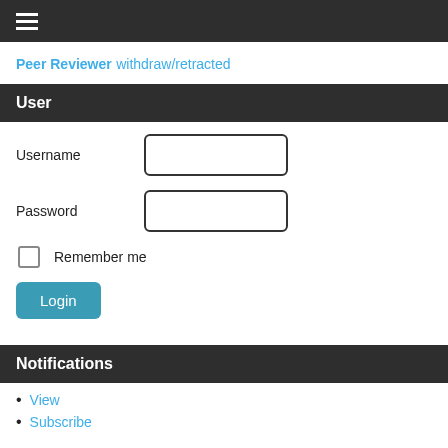≡ (hamburger menu icon)
Peer Reviewer
withdraw/retracted
User
Username
Password
Remember me
Login
Notifications
View
Subscribe